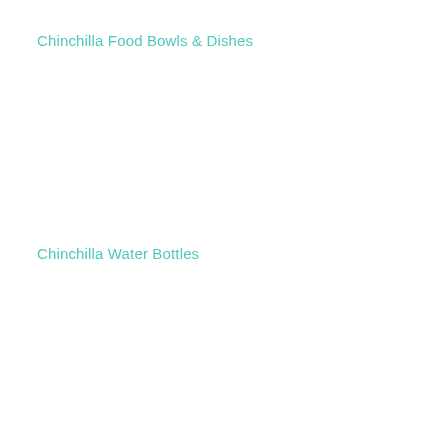Chinchilla Food Bowls & Dishes
Chinchilla Water Bottles